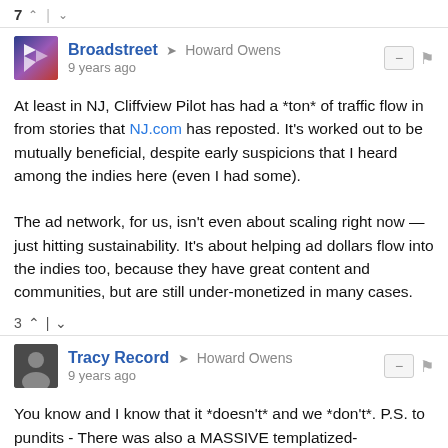7 ↑ | ↓
Broadstreet → Howard Owens
9 years ago
At least in NJ, Cliffview Pilot has had a *ton* of traffic flow in from stories that NJ.com has reposted. It's worked out to be mutually beneficial, despite early suspicions that I heard among the indies here (even I had some).

The ad network, for us, isn't even about scaling right now — just hitting sustainability. It's about helping ad dollars flow into the indies too, because they have great content and communities, but are still under-monetized in many cases.
3 ↑ | ↓
Tracy Record → Howard Owens
9 years ago
You know and I know that it *doesn't* and we *don't*. P.S. to pundits - There was also a MASSIVE templatized-"hyperlocal" failure out here that managed to escape without coverage ... DataSphere and its fake neighborhood sites in partnership with broadcast...